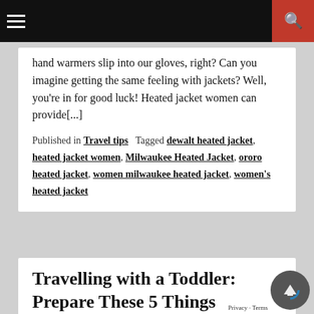[navigation bar with hamburger menu and search button]
hand warmers slip into our gloves, right? Can you imagine getting the same feeling with jackets? Well, you're in for good luck! Heated jacket women can provide[...]
Published in Travel tips  Tagged dewalt heated jacket, heated jacket women, Milwaukee Heated Jacket, ororo heated jacket, women milwaukee heated jacket, women's heated jacket
Travelling with a Toddler: Prepare These 5 Things